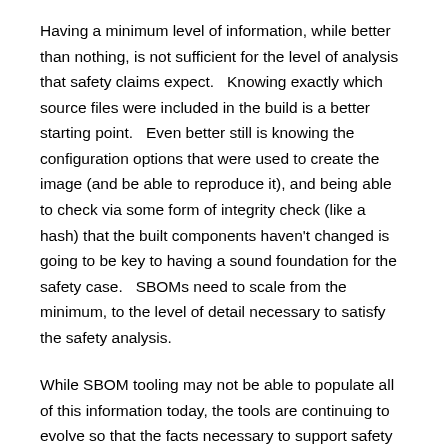Having a minimum level of information, while better than nothing, is not sufficient for the level of analysis that safety claims expect.   Knowing exactly which source files were included in the build is a better starting point.   Even better still is knowing the configuration options that were used to create the image (and be able to reproduce it), and being able to check via some form of integrity check (like a hash) that the built components haven't changed is going to be key to having a sound foundation for the safety case.   SBOMs need to scale from the minimum, to the level of detail necessary to satisfy the safety analysis.
While SBOM tooling may not be able to populate all of this information today, the tools are continuing to evolve so that the facts necessary to support safety analysis can be made available.   An international open SBOM standard, like